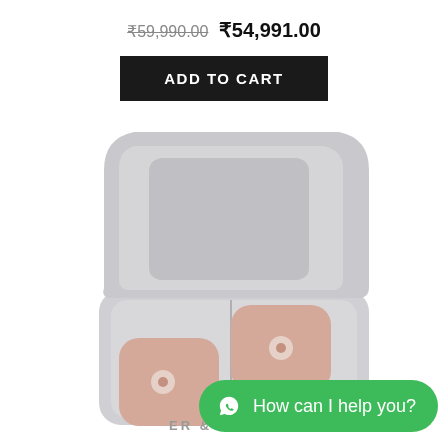₹59,990.00  ₹54,991.00
ADD TO CART
[Figure (photo): Bang & Olufsen wireless earbuds in pink/rose gold color inside an open silver metallic charging case, viewed from above at an angle. The case lid is open showing the interior. Two earbuds are visible in the bottom compartment.]
How can I help you?